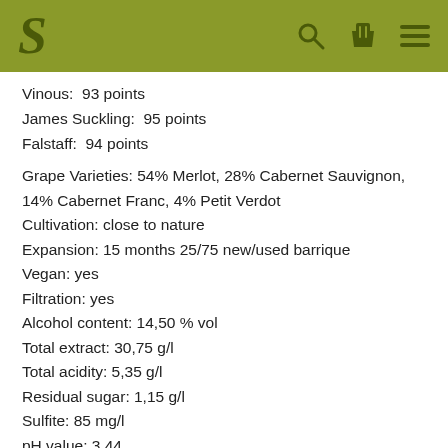[Figure (logo): Website header bar with stylized S logo in olive green, and search, basket, and menu icons on the right]
Vinous:  93 points
James Suckling:  95 points
Falstaff:  94 points
Grape Varieties: 54% Merlot, 28% Cabernet Sauvignon, 14% Cabernet Franc, 4% Petit Verdot
Cultivation: close to nature
Expansion: 15 months 25/75 new/used barrique
Vegan: yes
Filtration: yes
Alcohol content: 14,50 % vol
Total extract: 30,75 g/l
Total acidity: 5,35 g/l
Residual sugar: 1,15 g/l
Sulfite: 85 mg/l
pH value: 3,44
Closure: natural cork